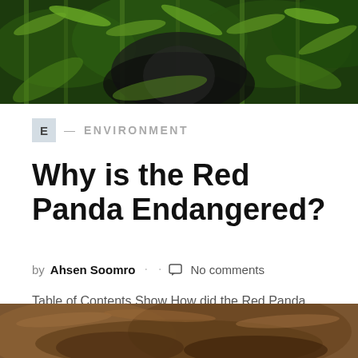[Figure (photo): Close-up photo of a panda among green bamboo leaves]
E — ENVIRONMENT
Why is the Red Panda Endangered?
by Ahsen Soomro · No comments
Table of Contents Show How did the Red Panda become Endangered?Low ReproductivityHabitat Loss and DestructionClimate ChangePoachingSolutions to Red...
[Figure (photo): Close-up photo of a red panda fur/texture at the bottom of the page]